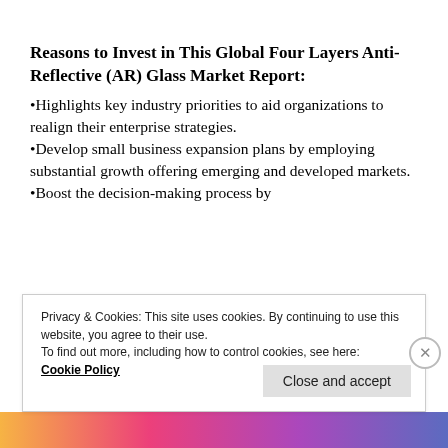Reasons to Invest in This Global Four Layers Anti-Reflective (AR) Glass Market Report:
•Highlights key industry priorities to aid organizations to realign their enterprise strategies.
•Develop small business expansion plans by employing substantial growth offering emerging and developed markets.
•Boost the decision-making process by
Privacy & Cookies: This site uses cookies. By continuing to use this website, you agree to their use. To find out more, including how to control cookies, see here: Cookie Policy
Close and accept